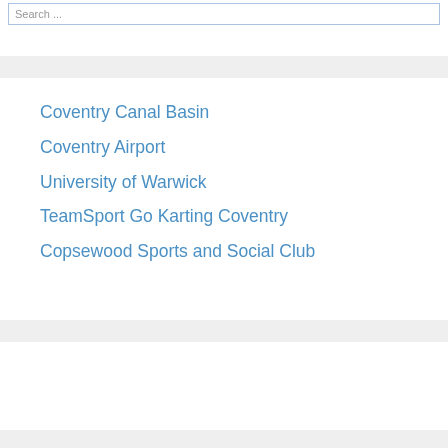Search ...
Coventry Canal Basin
Coventry Airport
University of Warwick
TeamSport Go Karting Coventry
Copsewood Sports and Social Club